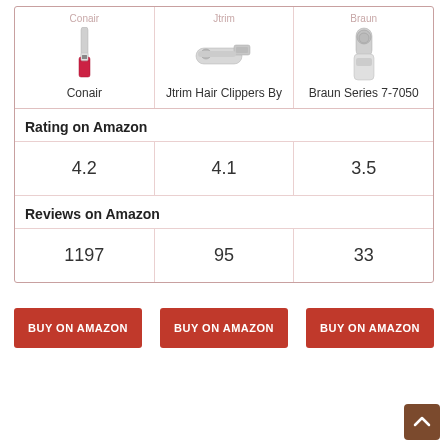|  | Conair | Jtrim Hair Clippers By | Braun Series 7-7050 |
| --- | --- | --- | --- |
| Rating on Amazon |  |  |  |
|  | 4.2 | 4.1 | 3.5 |
| Reviews on Amazon |  |  |  |
|  | 1197 | 95 | 33 |
BUY ON AMAZON
BUY ON AMAZON
BUY ON AMAZON